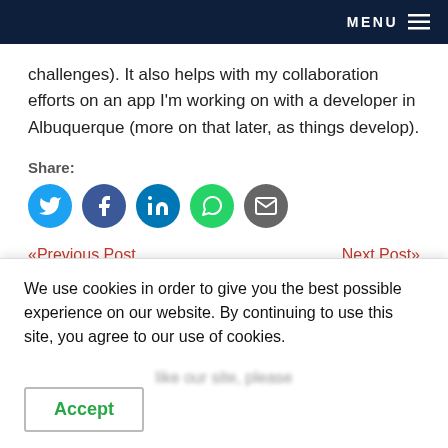MENU
challenges). It also helps with my collaboration efforts on an app I'm working on with a developer in Albuquerque (more on that later, as things develop).
Share:
[Figure (infographic): Row of five social media share icons: Twitter (blue), Facebook (dark blue), LinkedIn (blue), WhatsApp (green), Email (grey)]
«Previous Post   Next Post»
Get professional expertise at a competitive rate.
We use cookies in order to give you the best possible experience on our website. By continuing to use this site, you agree to our use of cookies.
Accept